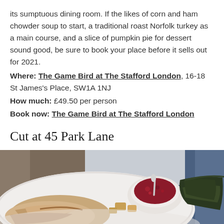its sumptuous dining room. If the likes of corn and ham chowder soup to start, a traditional roast Norfolk turkey as a main course, and a slice of pumpkin pie for dessert sound good, be sure to book your place before it sells out for 2021. Where: The Game Bird at The Stafford London, 16-18 St James's Place, SW1A 1NJ How much: £49.50 per person Book now: The Game Bird at The Stafford London
Cut at 45 Park Lane
[Figure (photo): A white plate with sliced roast turkey, a small bowl of cranberry sauce with a spoon, and dark leafy greens (braised kale or cabbage), with blurred restaurant chairs and blue decor in the background.]